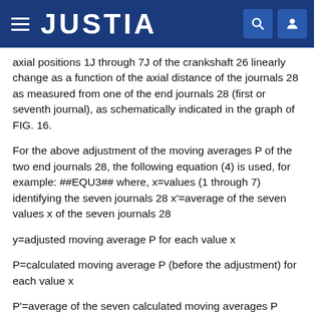JUSTIA
axial positions 1J through 7J of the crankshaft 26 linearly change as a function of the axial distance of the journals 28 as measured from one of the end journals 28 (first or seventh journal), as schematically indicated in the graph of FIG. 16.
For the above adjustment of the moving averages P of the two end journals 28, the following equation (4) is used, for example: ##EQU3## where, x=values (1 through 7) identifying the seven journals 28 x'=average of the seven values x of the seven journals 28
y=adjusted moving average P for each value x
P=calculated moving average P (before the adjustment) for each value x
P'=average of the seven calculated moving averages P